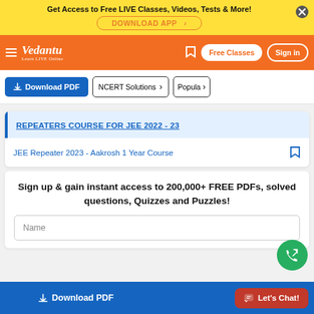Get Access to Free LIVE Classes, Videos, Tests & More! DOWNLOAD APP
Vedantu - Learn LIVE Online | Free Classes | Sign in
Download PDF | NCERT Solutions | Popular
REPEATERS COURSE FOR JEE 2022 - 23
JEE Repeater 2023 - Aakrosh 1 Year Course
Sign up & gain instant access to 200,000+ FREE PDFs, solved questions, Quizzes and Puzzles!
Name
Download PDF | Let's Chat!